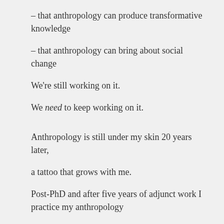– that anthropology can produce transformative knowledge
– that anthropology can bring about social change
We're still working on it.
We need to keep working on it.
Anthropology is still under my skin 20 years later,
a tattoo that grows with me.
Post-PhD and after five years of adjunct work I practice my anthropology